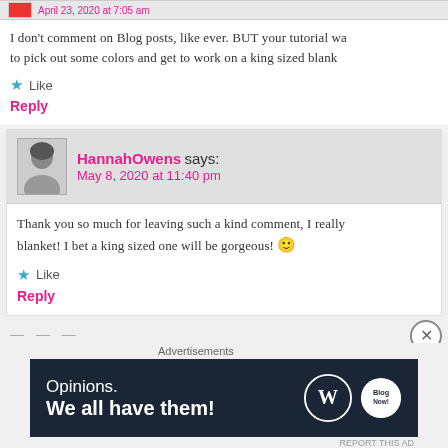I don't comment on Blog posts, like ever. BUT your tutorial wa... to pick out some colors and get to work on a king sized blank...
Like
Reply
HannahOwens says: May 8, 2020 at 11:40 pm
Thank you so much for leaving such a kind comment, I really... blanket! I bet a king sized one will be gorgeous! 🙂
Like
Reply
Advertisements
[Figure (screenshot): WordPress advertisement banner: 'Opinions. We all have them!' with WordPress and Blog logos on dark navy background]